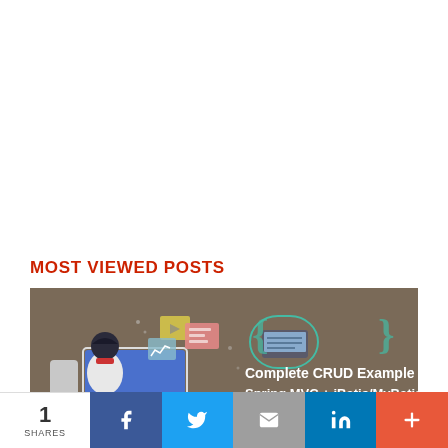MOST VIEWED POSTS
[Figure (illustration): Banner image for 'Complete CRUD Example Spring MVC + iBatis/MyBatis' blog post, featuring an illustrated person working at a desktop computer with floating UI elements, on a brown/taupe background, with text overlay on the right side.]
1 SHARES
Facebook share button
Twitter share button
Email share button
LinkedIn share button
More share button